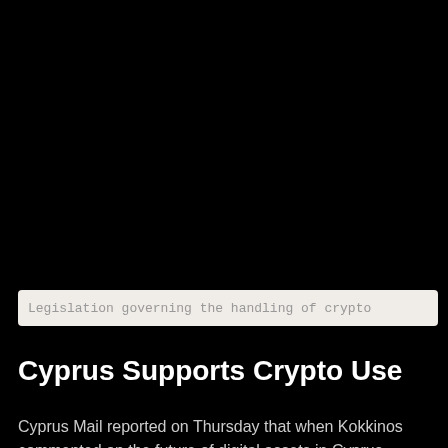[Figure (photo): Large black image area occupying the top portion of the page]
Legislation governing the handling of crypto
Cyprus Supports Crypto Use
Cyprus Mail reported on Thursday that when Kokkinos commented on the future of digital assets in Cyprus,